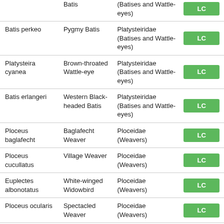| Scientific Name | Common Name | Family | Status |
| --- | --- | --- | --- |
| Batis | Batis | (Batises and Wattle-eyes) | LC |
| Batis perkeo | Pygmy Batis | Platysteiridae (Batises and Wattle-eyes) | LC |
| Platysteira cyanea | Brown-throated Wattle-eye | Platysteiridae (Batises and Wattle-eyes) | LC |
| Batis erlangeri | Western Black-headed Batis | Platysteiridae (Batises and Wattle-eyes) | LC |
| Ploceus baglafecht | Baglafecht Weaver | Ploceidae (Weavers) | LC |
| Ploceus cucullatus | Village Weaver | Ploceidae (Weavers) | LC |
| Euplectes albonotatus | White-winged Widowbird | Ploceidae (Weavers) | LC |
| Ploceus ocularis | Spectacled Weaver | Ploceidae (Weavers) | LC |
| Ploceus vitellinus | Vitelline Masked | Ploceidae (Weavers) | LC |